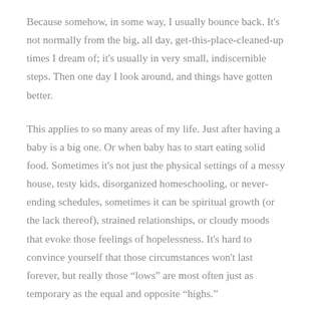Because somehow, in some way, I usually bounce back. It's not normally from the big, all day, get-this-place-cleaned-up times I dream of; it's usually in very small, indiscernible steps. Then one day I look around, and things have gotten better.
This applies to so many areas of my life. Just after having a baby is a big one. Or when baby has to start eating solid food. Sometimes it's not just the physical settings of a messy house, testy kids, disorganized homeschooling, or never-ending schedules, sometimes it can be spiritual growth (or the lack thereof), strained relationships, or cloudy moods that evoke those feelings of hopelessness. It's hard to convince yourself that those circumstances won't last forever, but really those “lows” are most often just as temporary as the equal and opposite “highs.”